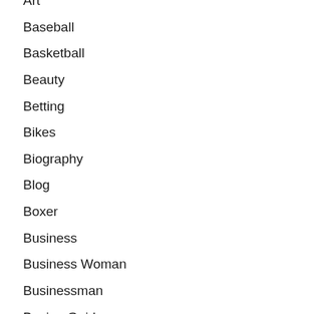Art
Baseball
Basketball
Beauty
Betting
Bikes
Biography
Blog
Boxer
Business
Business Woman
Businessman
Buying Guide
Cars
Casino